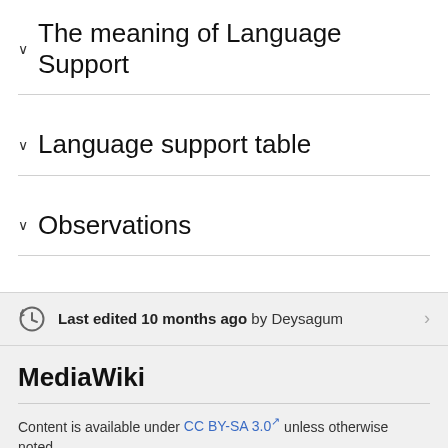The meaning of Language Support
Language support table
Observations
Last edited 10 months ago by Deysagum
MediaWiki
Content is available under CC BY-SA 3.0 unless otherwise noted.
Terms of Use • Privacy policy • Desktop